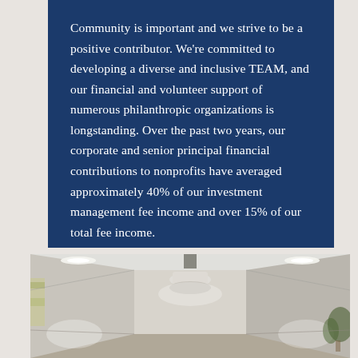Community is important and we strive to be a positive contributor. We're committed to developing a diverse and inclusive TEAM, and our financial and volunteer support of numerous philanthropic organizations is longstanding. Over the past two years, our corporate and senior principal financial contributions to nonprofits have averaged approximately 40% of our investment management fee income and over 15% of our total fee income.
[Figure (photo): Interior hallway of a modern building with recessed ceiling lights and a pendant lamp, neutral tones, plant visible on the right side]